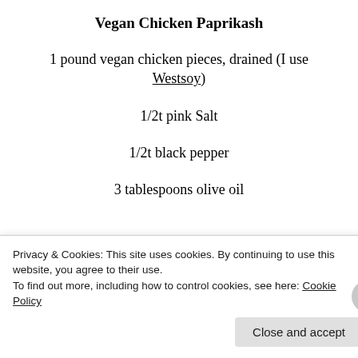Vegan Chicken Paprikash
1 pound vegan chicken pieces, drained (I use Westsoy)
1/2t pink Salt
1/2t black pepper
3 tablespoons olive oil
1 large onion, medium dice
Privacy & Cookies: This site uses cookies. By continuing to use this website, you agree to their use.
To find out more, including how to control cookies, see here: Cookie Policy
Close and accept